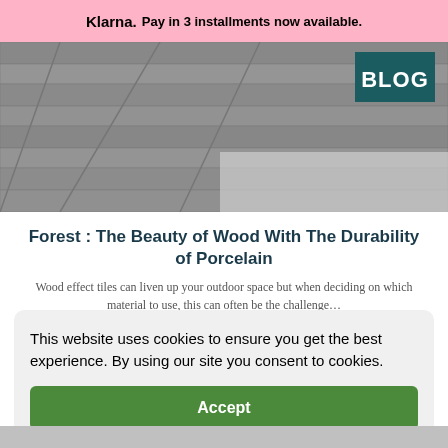Klarna. Pay in 3 installments now available.
[Figure (photo): Wood effect tiles/flooring photo with a dark teal BLOG badge in the top right corner]
Forest : The Beauty of Wood With The Durability of Porcelain
Wood effect tiles can liven up your outdoor space but when deciding on which material to use, this can often be the challenge...
This website uses cookies to ensure you get the best experience. By using our site you consent to cookies.
Accept
Learn More